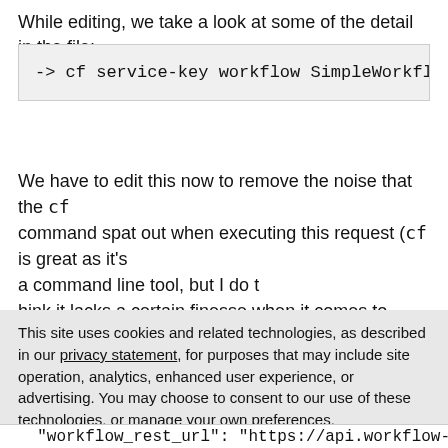While editing, we take a look at some of the detail in the file:
[Figure (screenshot): Code block showing terminal command: -> cf service-key workflow SimpleWorkflow-workfl]
We have to edit this now to remove the noise that the cf command spat out when executing this request (cf is great as it's a command line tool, but I do t hink it lacks a certain finesse when it comes to usability, and unfortunately the cf curl approach, using a completely
This site uses cookies and related technologies, as described in our privacy statement, for purposes that may include site operation, analytics, enhanced user experience, or advertising. You may choose to consent to our use of these technologies, or manage your own preferences.
Accept Cookies
More Information
Privacy Policy | Powered by: TrustArc
[Figure (screenshot): Code snippet at bottom: "workflow_rest_url": "https://api.workflow-san]